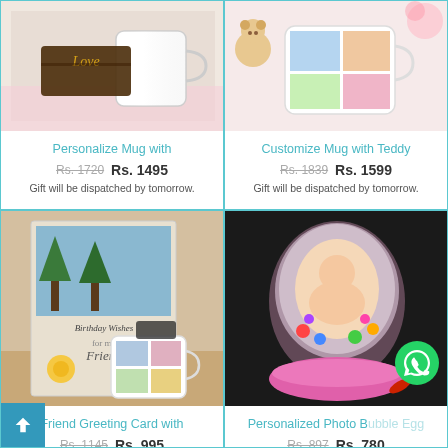[Figure (photo): Personalize mug with love chocolate bar product photo]
Personalize Mug with
Rs. 1720  Rs. 1495
Gift will be dispatched by tomorrow.
[Figure (photo): Customize mug with teddy product photo]
Customize Mug with Teddy
Rs. 1839  Rs. 1599
Gift will be dispatched by tomorrow.
[Figure (photo): Friend greeting card with mug product photo]
Friend Greeting Card with
Rs. 1145  Rs. 995
Gift will be dispatched by tomorrow.
[Figure (photo): Personalized photo bubble egg product photo with WhatsApp button overlay]
Personalized Photo Bubble Egg
Rs. 897  Rs. 780
Gift will be dispatched by tomorrow.